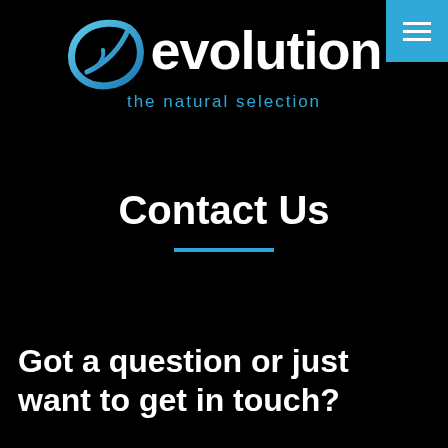[Figure (logo): Evolution logo with stylized 'e' icon in blue and white text reading 'evolution' with tagline 'the natural selection' in blue]
Contact Us
Got a question or just want to get in touch?